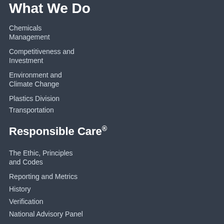What We Do
Chemicals Management
Competitiveness and Investment
Environment and Climate Change
Plastics Division
Transportation
Responsible Care®
The Ethic, Principles and Codes
Reporting and Metrics
History
Verification
National Advisory Panel